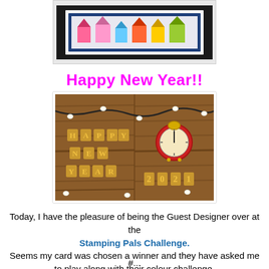[Figure (photo): Partial top photo of a handmade card with colorful houses on a dark blue background, shown at an angle on a white surface]
Happy New Year!!
[Figure (photo): New Year 2021 image showing wooden background with string lights. Left side has wooden letter tiles spelling HAPPY NEW YEAR, right side has a red alarm clock showing midnight and wooden number tiles spelling 2021]
Today, I have the pleasure of being the Guest Designer over at the Stamping Pals Challenge. Seems my card was chosen a winner and they have asked me to play along with their colour challenge.
#...